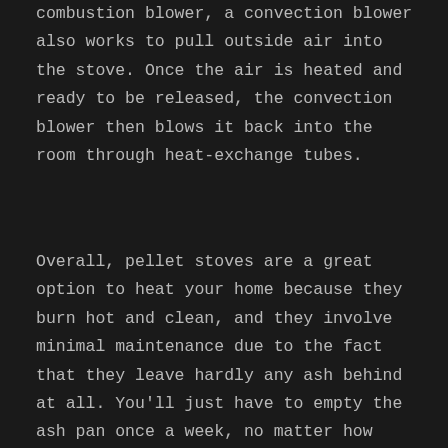combustion blower, a convection blower also works to pull outside air into the stove. Once the air is heated and ready to be released, the convection blower then blows it back into the room through heat-exchange tubes.
Overall, pellet stoves are a great option to heat your home because they burn hot and clean, and they involve minimal maintenance due to the fact that they leave hardly any ash behind at all. You'll just have to empty the ash pan once a week, no matter how often you use the stove.